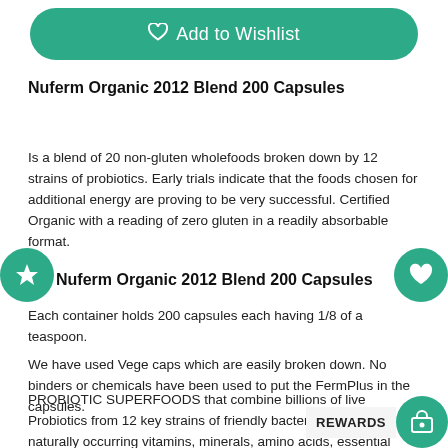[Figure (other): Green rounded button with heart outline icon and 'Add to Wishlist' text]
Nuferm Organic 2012 Blend 200 Capsules
Is a blend of 20 non-gluten wholefoods broken down by 12 strains of probiotics. Early trials indicate that the foods chosen for additional energy are proving to be very successful. Certified Organic with a reading of zero gluten in a readily absorbable format.
Nuferm Organic 2012 Blend 200 Capsules
Each container holds 200 capsules each having 1/8 of a teaspoon.
We have used Vege caps which are easily broken down. No binders or chemicals have been used to put the FermPlus in the capsules.
PROBIOTIC SUPERFOODS that combine billions of live Probiotics from 12 key strains of friendly bacteria with naturally occurring vitamins, minerals, amino acids, essential fatty acids, phyto-nutrients &